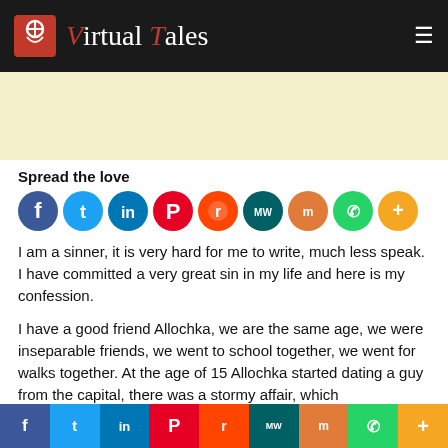Virtual Tales
[Figure (other): Cream/yellow advertisement banner area]
Spread the love
[Figure (infographic): Social sharing icons: Facebook, Twitter, LinkedIn, Pinterest, Reddit, MeWe, Mix, WhatsApp, More]
I am a sinner, it is very hard for me to write, much less speak. I have committed a very great sin in my life and here is my confession.
I have a good friend Allochka, we are the same age, we were inseparable friends, we went to school together, we went for walks together. At the age of 15 Allochka started dating a guy from the capital, there was a stormy affair, which
f  Twitter  in  Pinterest  Reddit  MeWe  Mix  WhatsApp  More